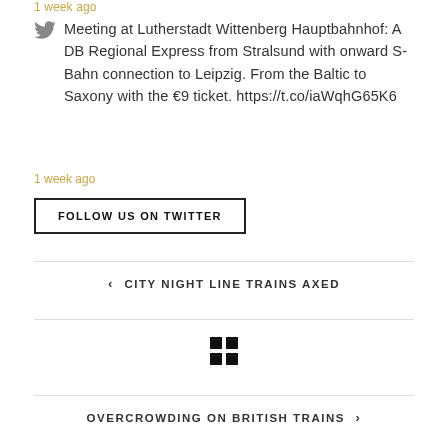1 week ago
Meeting at Lutherstadt Wittenberg Hauptbahnhof: A DB Regional Express from Stralsund with onward S-Bahn connection to Leipzig. From the Baltic to Saxony with the €9 ticket. https://t.co/iaWqhG65K6
1 week ago
FOLLOW US ON TWITTER
< CITY NIGHT LINE TRAINS AXED
[Figure (other): Grid/menu icon (four squares in 2x2 arrangement)]
OVERCROWDING ON BRITISH TRAINS >